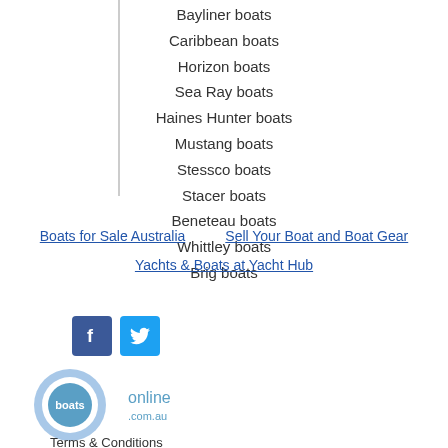Bayliner boats
Caribbean boats
Horizon boats
Sea Ray boats
Haines Hunter boats
Mustang boats
Stessco boats
Stacer boats
Beneteau boats
Whittley boats
Brig boats
Boats for Sale Australia   Sell Your Boat and Boat Gear
Yachts & Boats at Yacht Hub
[Figure (logo): Facebook icon (blue square with white F)]
[Figure (logo): Twitter icon (blue square with white bird)]
[Figure (logo): boats online .com.au logo - circular blue logo with text]
Terms & Conditions